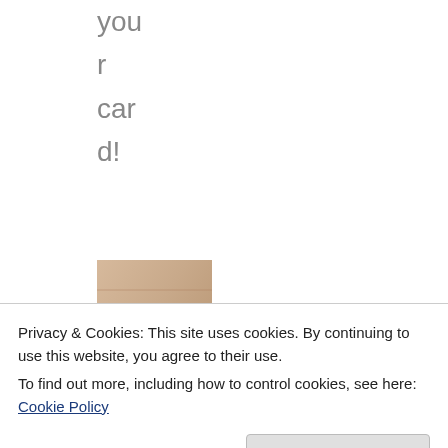you
r
car
d!
[Figure (photo): A small pink/beige card or envelope, photographed from above on a light background.]
Inside sympath sentime from th
Privacy & Cookies: This site uses cookies. By continuing to use this website, you agree to their use.
To find out more, including how to control cookies, see here: Cookie Policy
Close and accept
that